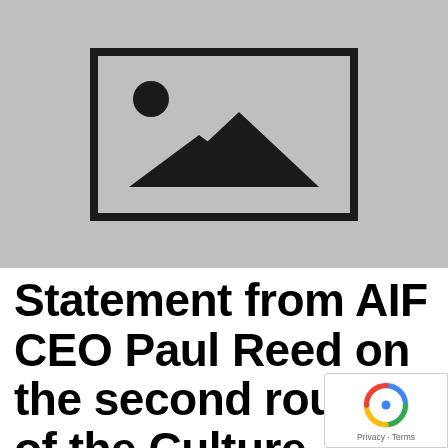[Figure (photo): Placeholder image with grey background and a landscape/mountain icon in the center]
Statement from AIF CEO Paul Reed on the second round of the Culture Recovery Fund